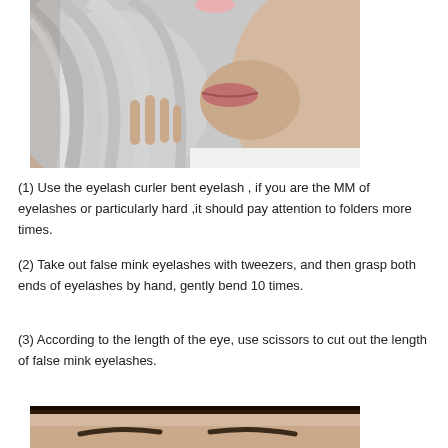[Figure (photo): Close-up photo of a young woman with long silver/platinum blonde hair, wearing a white top, touching her hair with one hand. Only the lower half of her face (nose, lips, chin) and neck are visible. Selfie-style portrait.]
(1) Use the eyelash curler bent eyelash , if you are the MM of eyelashes or particularly hard ,it should pay attention to folders more times.
(2) Take out false mink eyelashes with tweezers, and then grasp both ends of eyelashes by hand, gently bend 10 times.
(3) According to the length of the eye, use scissors to cut out the length of false mink eyelashes.
[Figure (photo): Partial photo showing the top of a person's face — forehead and eyebrows visible at the bottom of the image.]